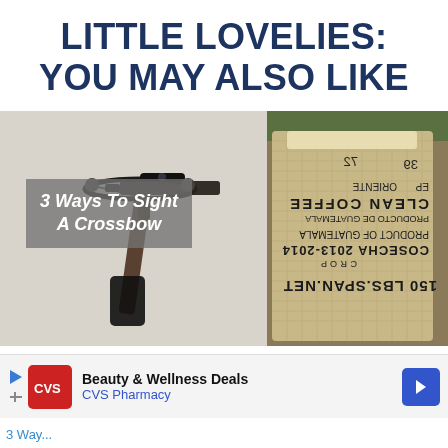LITTLE LOVELIES: YOU MAY ALSO LIKE
[Figure (photo): Photo of a crossbow with overlay text '3 Ways To Sight A Crossbow']
[Figure (photo): Photo of a burlap coffee sack with text '150 LBS. SPAN. NET, COSECHA 2013-2014, PRODUCT OF GUATEMALA, CLEAN COFFEE, ORIENTE']
Beauty & Wellness Deals
CVS Pharmacy
3 Way...